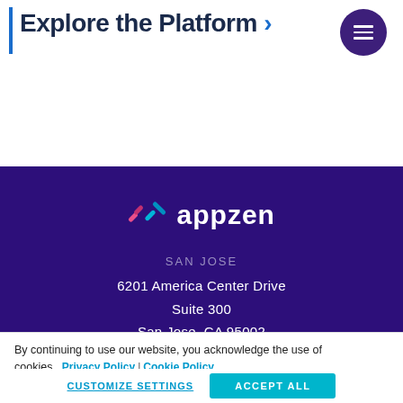Explore the Platform >
[Figure (logo): AppZen logo with colorful slash/check mark icon in pink, teal, and blue, followed by white 'appzen' text on purple background]
SAN JOSE
6201 America Center Drive
Suite 300
San Jose, CA 95002
By continuing to use our website, you acknowledge the use of cookies.  Privacy Policy | Cookie Policy
CUSTOMIZE SETTINGS      ACCEPT ALL